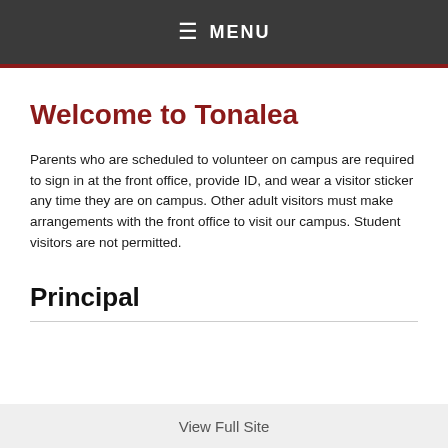MENU
Welcome to Tonalea
Parents who are scheduled to volunteer on campus are required to sign in at the front office, provide ID, and wear a visitor sticker any time they are on campus. Other adult visitors must make arrangements with the front office to visit our campus. Student visitors are not permitted.
Principal
View Full Site